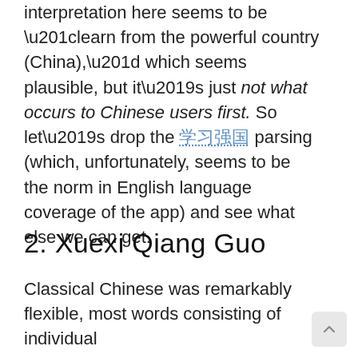interpretation here seems to be “learn from the powerful country (China),” which seems plausible, but it’s just not what occurs to Chinese users first. So let’s drop the 学习强国 parsing (which, unfortunately, seems to be the norm in English language coverage of the app) and see what else we can get.
2. Xuexi Qiang Guo
Classical Chinese was remarkably flexible, most words consisting of individual